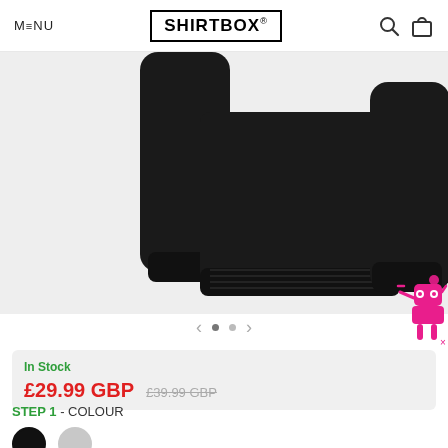MENU | SHIRTBOX® | [search icon] [cart icon]
[Figure (photo): Black sweatshirt/hoodie product photo showing bottom half with sleeves and ribbed hem, cropped view on light grey background]
< · · >
In Stock
£29.99 GBP  £39.99 GBP
STEP 1 - COLOUR
[Figure (illustration): Two colour swatches: black circle and grey circle]